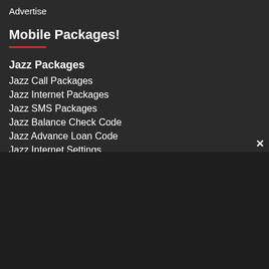Advertise
Mobile Packages!
Jazz Packages
Jazz Call Packages
Jazz Internet Packages
Jazz SMS Packages
Jazz Balance Check Code
Jazz Advance Loan Code
Jazz Internet Settings
Jazz WhatsApp Packages
Zong Packages
Zong Call Packages
Zong Internet Packages